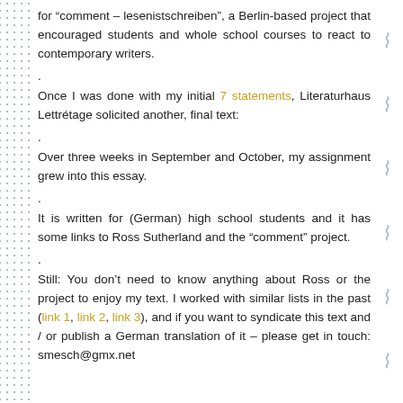for “comment – lesenistschreiben”, a Berlin-based project that encouraged students and whole school courses to react to contemporary writers.
.
Once I was done with my initial 7 statements, Literaturhaus Lettrétage solicited another, final text:
.
Over three weeks in September and October, my assignment grew into this essay.
.
It is written for (German) high school students and it has some links to Ross Sutherland and the “comment” project.
.
Still: You don’t need to know anything about Ross or the project to enjoy my text. I worked with similar lists in the past (link 1, link 2, link 3), and if you want to syndicate this text and / or publish a German translation of it – please get in touch: smesch@gmx.net